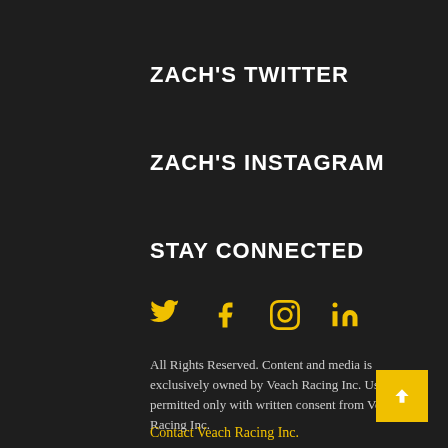ZACH'S TWITTER
ZACH'S INSTAGRAM
STAY CONNECTED
[Figure (infographic): Social media icons: Twitter bird, Facebook f, Instagram camera, LinkedIn in — all in yellow/gold color]
All Rights Reserved. Content and media is exclusively owned by Veach Racing Inc. Use permitted only with written consent from Veach Racing Inc.
Contact Veach Racing Inc.